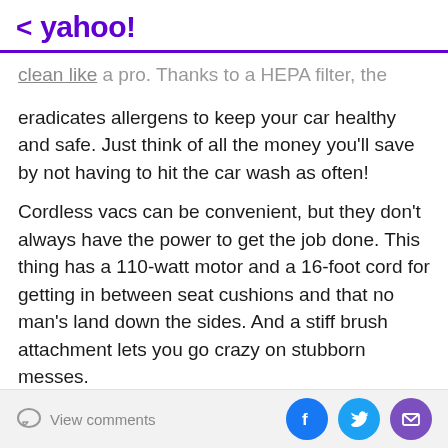< yahoo!
clean like a pro. Thanks to a HEPA filter, the gadget also eradicates allergens to keep your car healthy and safe. Just think of all the money you'll save by not having to hit the car wash as often!
Cordless vacs can be convenient, but they don't always have the power to get the job done. This thing has a 110-watt motor and a 16-foot cord for getting in between seat cushions and that no man's land down the sides. And a stiff brush attachment lets you go crazy on stubborn messes.
And if you have Amazon Prime, you'll get free shipping, of course. Not yet a member? No problem. You can sign up for a free 30-day trial by clicking right here.
View comments